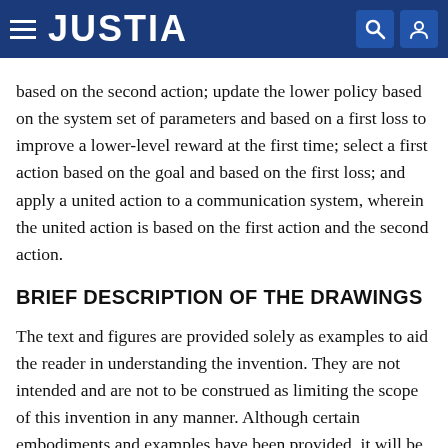JUSTIA
based on the second action; update the lower policy based on the system set of parameters and based on a first loss to improve a lower-level reward at the first time; select a first action based on the goal and based on the first loss; and apply a united action to a communication system, wherein the united action is based on the first action and the second action.
BRIEF DESCRIPTION OF THE DRAWINGS
The text and figures are provided solely as examples to aid the reader in understanding the invention. They are not intended and are not to be construed as limiting the scope of this invention in any manner. Although certain embodiments and examples have been provided, it will be apparent to those skilled in the art based on the disclosures herein that changes in the embodiments